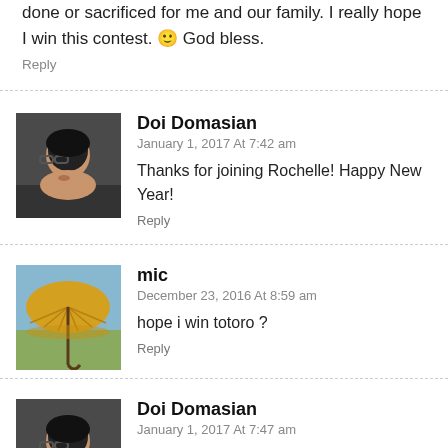done or sacrificed for me and our family. I really hope I win this contest. 🙂 God bless.
Reply
Doi Domasian
January 1, 2017 At 7:42 am
Thanks for joining Rochelle! Happy New Year!
Reply
mic
December 23, 2016 At 8:59 am
hope i win totoro ?
Reply
Doi Domasian
January 1, 2017 At 7:47 am
Mic! Thank you for joining! Hopefully when I get back to Taipei so she can have a Totoro for